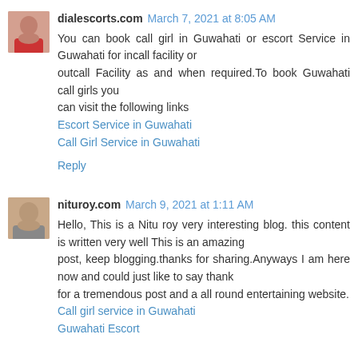dialescorts.com March 7, 2021 at 8:05 AM
You can book call girl in Guwahati or escort Service in Guwahati for incall facility or outcall Facility as and when required.To book Guwahati call girls you can visit the following links
Escort Service in Guwahati
Call Girl Service in Guwahati
Reply
nituroy.com March 9, 2021 at 1:11 AM
Hello, This is a Nitu roy very interesting blog. this content is written very well This is an amazing post, keep blogging.thanks for sharing.Anyways I am here now and could just like to say thank for a tremendous post and a all round entertaining website.
Call girl service in Guwahati
Guwahati Escort